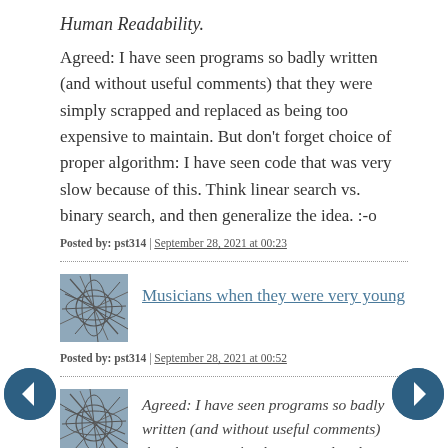Human Readability.
Agreed: I have seen programs so badly written (and without useful comments) that they were simply scrapped and replaced as being too expensive to maintain. But don't forget choice of proper algorithm: I have seen code that was very slow because of this. Think linear search vs. binary search, and then generalize the idea. :-o
Posted by: pst314 | September 28, 2021 at 00:23
[Figure (photo): Avatar thumbnail showing abstract line drawing on blue-grey background]
Musicians when they were very young
Posted by: pst314 | September 28, 2021 at 00:52
[Figure (photo): Avatar thumbnail showing abstract line drawing on blue-grey background]
Agreed: I have seen programs so badly written (and without useful comments) that they were simply scrapped and replaced as being too expensive to